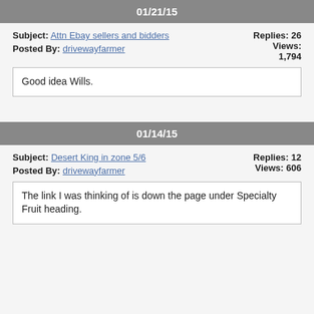01/21/15
Subject: Attn Ebay sellers and bidders   Replies: 26
Posted By: drivewayfarmer   Views: 1,794
Good idea Wills.
01/14/15
Subject: Desert King in zone 5/6   Replies: 12
Posted By: drivewayfarmer   Views: 606
The link I was thinking of is down the page under Specialty Fruit heading.